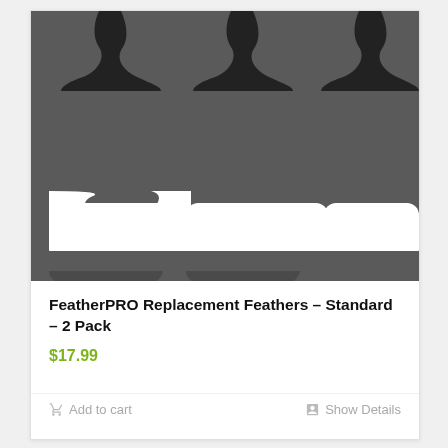[Figure (photo): Close-up photo of dark grey interlocking foam/rubber puzzle-piece style tiles showing the connector edges (male and female interlocking shapes) from top and bottom perspectives against a dark grey textured surface.]
FeatherPRO Replacement Feathers – Standard – 2 Pack
$17.99